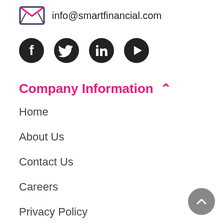[Figure (illustration): Envelope icon with pink lines inside, representing an email/contact icon]
info@smartfinancial.com
[Figure (illustration): Row of four black circular social media icons: Facebook, Twitter, LinkedIn, YouTube/Play]
Company Information ^
Home
About Us
Contact Us
Careers
Privacy Policy
Do not sell my personal information
Terms of Use